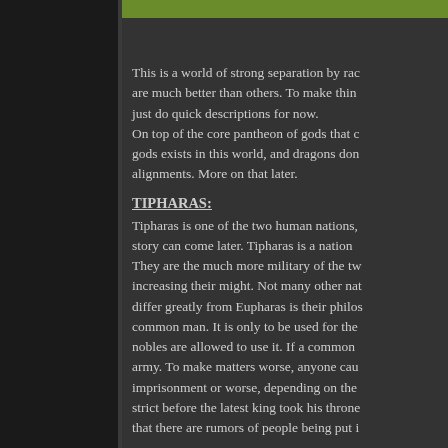This is a world of strong separation by rac are much better than others. To make thin just do quick descriptions for now.
On top of the core pantheon of gods that gods exists in this world, and dragons don alignments. More on that later.
TIPHARAS:
Tipharas is one of the two human nations, story can come later. Tipharas is a nation They are the much more military of the tw increasing their might. Not many other nat differ greatly from Eupharas is their philos common man. It is only to be used for the nobles are allowed to use it. If a common army. To make matters worse, anyone cau imprisonment or worse, depending on the strict before the latest king took his throne that there are rumors of people being put i
Wee Jas is often revered as the deity of th who worships one of the dragon gods is q relocate to Eupharas.